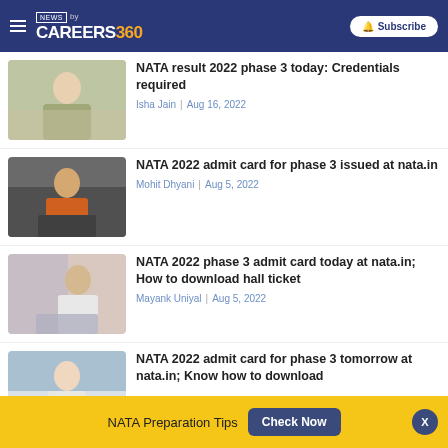NEWS by CAREERS360 | Subscribe
[Figure (photo): Woman sitting, looking at phone in hand]
NATA result 2022 phase 3 today: Credentials required
Isha Jain | Aug 16, 2022
[Figure (photo): Man in orange sweater at laptop]
NATA 2022 admit card for phase 3 issued at nata.in
Mohit Dhyani | Aug 5, 2022
[Figure (photo): Man with glasses in white shirt]
NATA 2022 phase 3 admit card today at nata.in; How to download hall ticket
Mayank Uniyal | Aug 5, 2022
[Figure (photo): Woman at desk with laptop]
NATA 2022 admit card for phase 3 tomorrow at nata.in; Know how to download
NATA Preparation Tips | Check Now